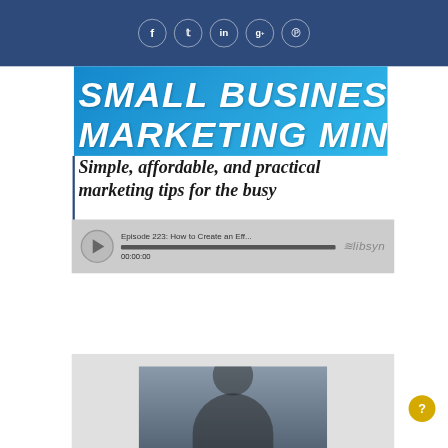[Figure (screenshot): Social media share icons (Facebook, Twitter, LinkedIn, Google+, Pinterest) as circles on a dark blue navigation bar]
[Figure (screenshot): Small Business Marketing Minute podcast banner with blue background and bold italic white text]
Simple, affordable, and practical marketing tips for the busy
[Figure (screenshot): Libsyn podcast audio player showing Episode 223: How to Create an Eff... with progress bar at 00:00:00]
[Figure (photo): Photo of a person, partially visible at bottom of page]